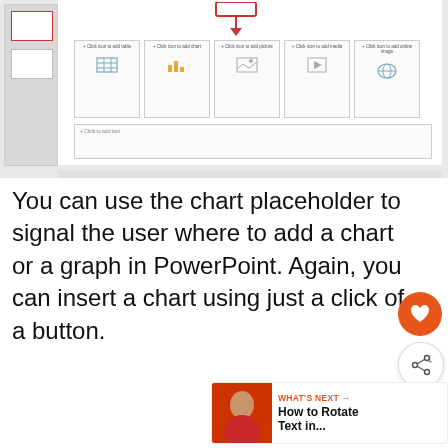[Figure (screenshot): Screenshot of Microsoft PowerPoint interface showing slide panel on left with two slide thumbnails, and main editing area with content placeholder row (table, chart, picture, media, online image icons) and a text placeholder below. A red arrow points down to the content icons row.]
You can use the chart placeholder to signal the user where to add a chart or a graph in PowerPoint. Again, you can insert a chart using just a click of a button.
[Figure (infographic): Orange circular heart/favorite button UI element]
[Figure (infographic): White circular share button UI element with share icon]
[Figure (infographic): What's Next panel showing thumbnail of instructor and text 'How to Rotate Text in...']